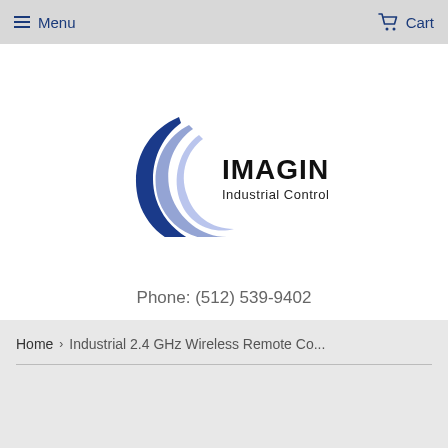Menu   Cart
[Figure (logo): Imagine Industrial Controls .com logo — dark blue crescent arc with company name text]
Phone: (512) 539-9402
Home › Industrial 2.4 GHz Wireless Remote Co...